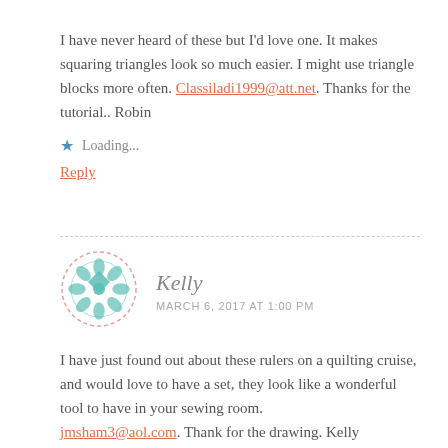I have never heard of these but I'd love one. It makes squaring triangles look so much easier. I might use triangle blocks more often. Classiladi1999@att.net. Thanks for the tutorial.. Robin
Loading...
Reply
[Figure (illustration): Circular avatar with teal/mint quilting pattern design on white background with dashed pink border]
Kelly
MARCH 6, 2017 AT 1:00 PM
I have just found out about these rulers on a quilting cruise, and would love to have a set, they look like a wonderful tool to have in your sewing room. jmsham3@aol.com. Thank for the drawing. Kelly